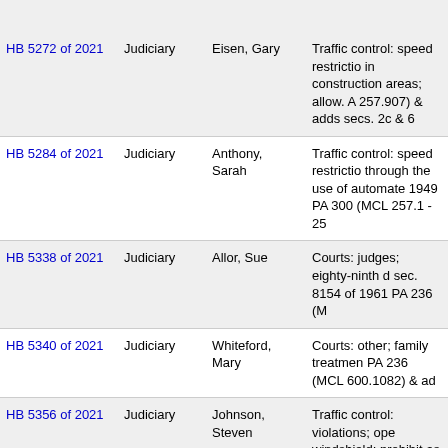| Bill | Committee | Sponsor | Description |
| --- | --- | --- | --- |
| HB 5272 of 2021 | Judiciary | Eisen, Gary | Traffic control: speed restrictions in construction areas; allow. A 257.907) & adds secs. 2c & 6 |
| HB 5284 of 2021 | Judiciary | Anthony, Sarah | Traffic control: speed restrictions through the use of automated 1949 PA 300 (MCL 257.1 - 25 |
| HB 5338 of 2021 | Judiciary | Allor, Sue | Courts: judges; eighty-ninth d sec. 8154 of 1961 PA 236 (M |
| HB 5340 of 2021 | Judiciary | Whiteford, Mary | Courts: other; family treatment PA 236 (MCL 600.1082) & ad |
| HB 5356 of 2021 | Judiciary | Johnson, Steven | Traffic control: violations; ope windshield; prohibit as bases 1949 PA 300 (MCL 257.683 & |
| HB 5364 of 2021 | Judiciary | Beeler, Andrew | Criminal procedure: sentenci guidelines; update. Amends s 777.11b). |
| HB 5365 of 2021 | Judiciary | Markkanen, Gregory | Weapons: concealed; natural act; update references. Amer 324.43510). TIE BAR WITH: |
| HB 5366 of 2021 | Judiciary | LaFave, Beau | Crimes: weapons; prohibition Amends secs. 227 & 230 of 1 repeals sec. 231a of 1931 PA 5367'21 |
| HB 5367 of 2021 | Judiciary | LaFave, Beau | Weapons: concealed; concea concealed pistols in pistol-fr |